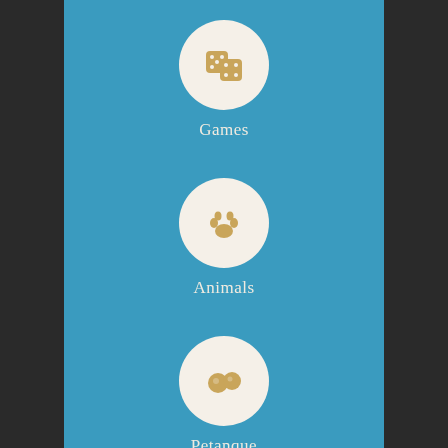[Figure (illustration): White circle with golden dice icons]
Games
[Figure (illustration): White circle with golden paw print icon]
Animals
[Figure (illustration): White circle with golden petanque balls icons]
Petanque